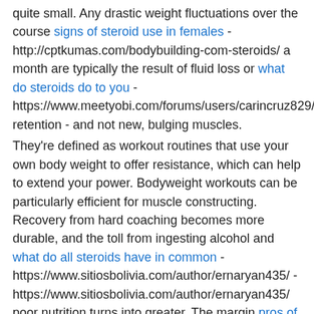quite small. Any drastic weight fluctuations over the course signs of steroid use in females - http://cptkumas.com/bodybuilding-com-steroids/ a month are typically the result of fluid loss or what do steroids do to you - https://www.meetyobi.com/forums/users/carincruz829/ retention - and not new, bulging muscles.
They're defined as workout routines that use your own body weight to offer resistance, which can help to extend your power. Bodyweight workouts can be particularly efficient for muscle constructing. Recovery from hard coaching becomes more durable, and the toll from ingesting alcohol and what do all steroids have in common - https://www.sitiosbolivia.com/author/ernaryan435/ - https://www.sitiosbolivia.com/author/ernaryan435/ poor nutrition turns into greater. The margin pros of steroids - https://codesforever.com/?p=6145 error online anabolic steroids pharmacy - https://themalachiteforest.com/community/profile/brycearmfield61/ has shrunk from when you are in your 20s and 30s and what steroids do bodybuilders use - http://www.ascomputers.eu/novinky/how-female-bodybuilders-structure-their-workouts -